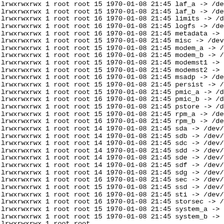lrwxrwxrwx 1 root root 15 1970-01-08 21:45 laf_a -> /dev/...
lrwxrwxrwx 1 root root 15 1970-01-08 21:45 laf_b -> /dev/...
lrwxrwxrwx 1 root root 16 1970-01-08 21:45 limits -> /dev/...
lrwxrwxrwx 1 root root 16 1970-01-08 21:45 logfs -> /dev/...
lrwxrwxrwx 1 root root 16 1970-01-08 21:45 metadata -> /...
lrwxrwxrwx 1 root root 15 1970-01-08 21:45 misc -> /dev/b...
lrwxrwxrwx 1 root root 15 1970-01-08 21:45 modem_a -> /de...
lrwxrwxrwx 1 root root 16 1970-01-08 21:45 modem_b -> /de...
lrwxrwxrwx 1 root root 15 1970-01-08 21:45 modemst1 -> /...
lrwxrwxrwx 1 root root 15 1970-01-08 21:45 modemst2 -> /...
lrwxrwxrwx 1 root root 16 1970-01-08 21:45 msadp -> /dev/...
lrwxrwxrwx 1 root root 15 1970-01-08 21:45 persist -> /de...
lrwxrwxrwx 1 root root 15 1970-01-08 21:45 pmic_a -> /dev...
lrwxrwxrwx 1 root root 16 1970-01-08 21:45 pmic_b -> /dev...
lrwxrwxrwx 1 root root 15 1970-01-08 21:45 pstore -> /dev...
lrwxrwxrwx 1 root root 15 1970-01-08 21:45 rpm_a -> /dev/...
lrwxrwxrwx 1 root root 16 1970-01-08 21:45 rpm_b -> /dev/...
lrwxrwxrwx 1 root root 14 1970-01-08 21:45 sda -> /dev/bl...
lrwxrwxrwx 1 root root 14 1970-01-08 21:45 sdb -> /dev/bl...
lrwxrwxrwx 1 root root 14 1970-01-08 21:45 sdc -> /dev/bl...
lrwxrwxrwx 1 root root 14 1970-01-08 21:45 sdd -> /dev/bl...
lrwxrwxrwx 1 root root 14 1970-01-08 21:45 sde -> /dev/bl...
lrwxrwxrwx 1 root root 14 1970-01-08 21:45 sdf -> /dev/bl...
lrwxrwxrwx 1 root root 14 1970-01-08 21:45 sdg -> /dev/bl...
lrwxrwxrwx 1 root root 16 1970-01-08 21:45 sec -> /dev/bl...
lrwxrwxrwx 1 root root 15 1970-01-08 21:45 ssd -> /dev/bl...
lrwxrwxrwx 1 root root 16 1970-01-08 21:45 sti -> /dev/bl...
lrwxrwxrwx 1 root root 16 1970-01-08 21:45 storsec -> /de...
lrwxrwxrwx 1 root root 15 1970-01-08 21:45 system_a -> /...
lrwxrwxrwx 1 root root 15 1970-01-08 21:45 system_b -> /...
lrwxrwxrwx ... 1970-01-08 21:45 ...